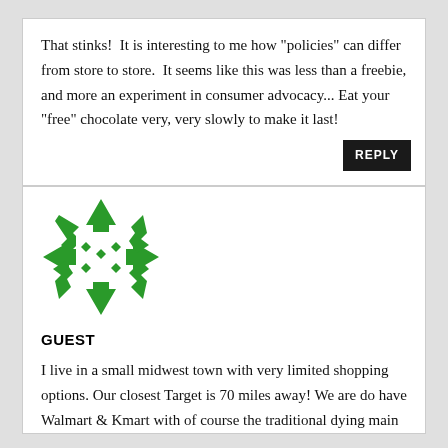That stinks!  It is interesting to me how "policies" can differ from store to store.  It seems like this was less than a freebie, and more an experiment in consumer advocacy... Eat your "free" chocolate very, very slowly to make it last!
[Figure (logo): Green decorative geometric avatar icon with arrows pointing outward and diamond shapes in the center]
GUEST
I live in a small midwest town with very limited shopping options. Our closest Target is 70 miles away! We are do have Walmart & Kmart with of course the traditional dying main street stores (but not due to those 2 stores). Anyhoo - I always try to go somewhere else then Walmart because, well you know. But honestly folks - 9 times out of 10 I still end up going to Walmart. Someone could die in our Kmart & it would take a act of congress for the body to get moved. OK - maybe I am exaggerating a bit but not much. My